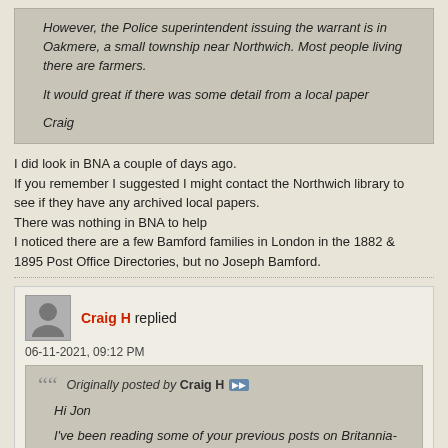However, the Police superintendent issuing the warrant is in Oakmere, a small township near Northwich. Most people living there are farmers.

It would great if there was some detail from a local paper

Craig
I did look in BNA a couple of days ago.
If you remember I suggested I might contact the Northwich library to see if they have any archived local papers.
There was nothing in BNA to help
I noticed there are a few Bamford families in London in the 1882 & 1895 Post Office Directories, but no Joseph Bamford.
Craig H replied
06-11-2021, 09:12 PM
Originally posted by Craig H

Hi Jon

I've been reading some of your previous posts on Britannia-man, and agree he could be a worthwhile suspect.